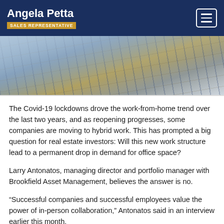Angela Petta — SALES REPRESENTATIVE
[Figure (photo): Upward-angle photograph of glass and steel office buildings reflecting sky]
The Covid-19 lockdowns drove the work-from-home trend over the last two years, and as reopening progresses, some companies are moving to hybrid work. This has prompted a big question for real estate investors: Will this new work structure lead to a permanent drop in demand for office space?
Larry Antonatos, managing director and portfolio manager with Brookfield Asset Management, believes the answer is no.
“Successful companies and successful employees value the power of in-person collaboration,” Antonatos said in an interview earlier this month.